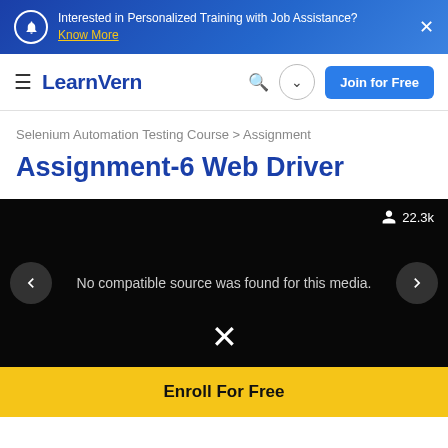Interested in Personalized Training with Job Assistance? Know More
[Figure (screenshot): LearnVern navigation bar with hamburger menu, logo, search icon, dropdown button, and Join for Free button]
Selenium Automation Testing Course > Assignment
Assignment-6 Web Driver
[Figure (screenshot): Black video player area showing 'No compatible source was found for this media.' with 22.3k viewers, left/right navigation arrows, and a close X button]
Enroll For Free